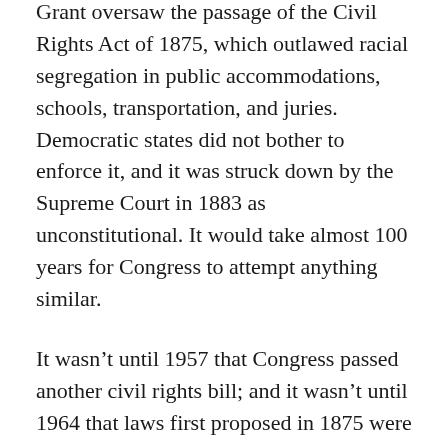Grant oversaw the passage of the Civil Rights Act of 1875, which outlawed racial segregation in public accommodations, schools, transportation, and juries. Democratic states did not bother to enforce it, and it was struck down by the Supreme Court in 1883 as unconstitutional. It would take almost 100 years for Congress to attempt anything similar.
It wasn't until 1957 that Congress passed another civil rights bill; and it wasn't until 1964 that laws first proposed in 1875 were enshrined into law. Then, in 1965 the country saw the Voting Rights Act, which enabled fair voting to the very citizens that Grant sought to protect, 90 years earlier.